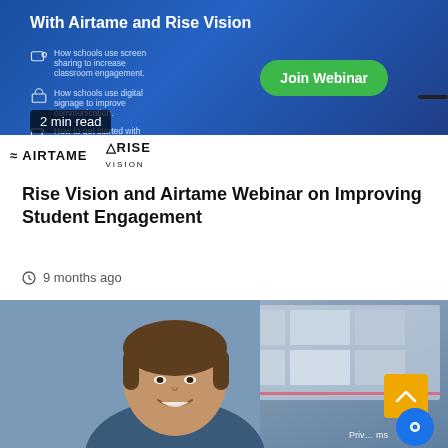[Figure (screenshot): Webinar promotional banner with blue background showing 'With Airtame and Rise Vision' title, bullet points about screen sharing and digital signage, a green 'Join Webinar' button, Airtame and Rise Vision logos, and a '2 min read' badge.]
Rise Vision and Airtame Webinar on Improving Student Engagement
9 months ago
[Figure (photo): Photograph of a smiling young man with brown hair in front of screens/monitors displaying digital signage content.]